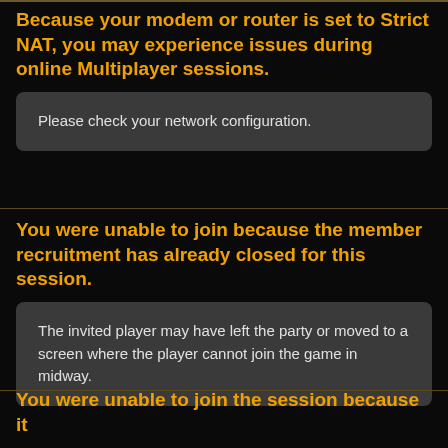Because your modem or router is set to Strict NAT, you may experience issues during online Multiplayer sessions.
Please check your network configuration.
You were unable to join because the member recruitment has already closed for this session.
The invited player may have left the party or moved to a screen where the player cannot join the game in midway.
You were unable to join the session because it